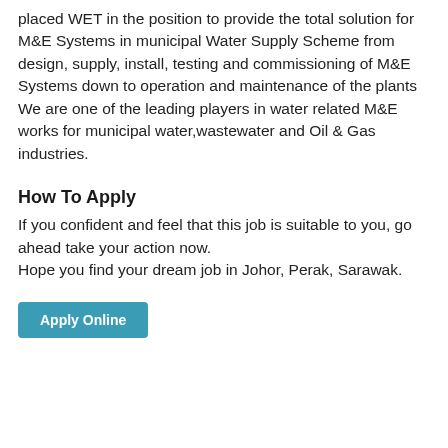placed WET in the position to provide the total solution for M&E Systems in municipal Water Supply Scheme from design, supply, install, testing and commissioning of M&E Systems down to operation and maintenance of the plants We are one of the leading players in water related M&E works for municipal water,wastewater and Oil & Gas industries.
How To Apply
If you confident and feel that this job is suitable to you, go ahead take your action now.
Hope you find your dream job in Johor, Perak, Sarawak.
Apply Online